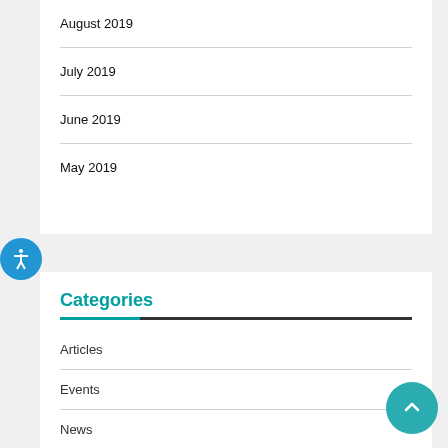August 2019
July 2019
June 2019
May 2019
Categories
Articles
Events
News